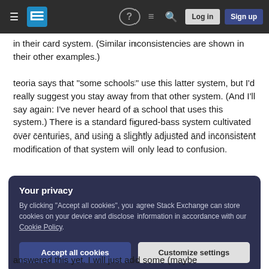Stack Exchange navigation bar with hamburger menu, logo, help icon, chat icon, search icon, Log in and Sign up buttons
in their card system. (Similar inconsistencies are shown in their other examples.)
teoria says that "some schools" use this latter system, but I'd really suggest you stay away from that other system. (And I'll say again: I've never heard of a school that uses this system.) There is a standard figured-bass system cultivated over centuries, and using a slightly adjusted and inconsistent modification of that system will only lead to confusion.
Your privacy
By clicking "Accept all cookies", you agree Stack Exchange can store cookies on your device and disclose information in accordance with our Cookie Policy.
Accept all cookies    Customize settings
answered this yet. I will just add some (maybe